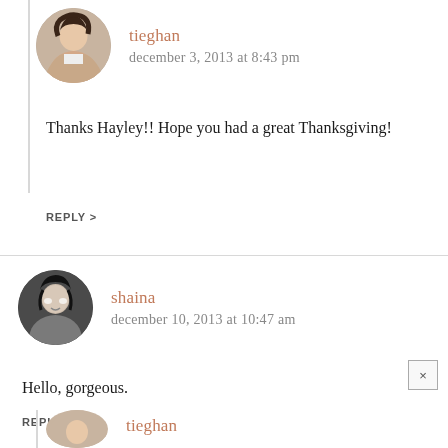[Figure (photo): Circular avatar photo of tieghan - woman in light colored outfit]
tieghan
december 3, 2013 at 8:43 pm
Thanks Hayley!! Hope you had a great Thanksgiving!
REPLY >
[Figure (photo): Circular avatar photo of shaina - black and white portrait of woman]
shaina
december 10, 2013 at 10:47 am
Hello, gorgeous.
REPLY >
[Figure (photo): Partial circular avatar photo of tieghan (cropped at bottom)]
tieghan